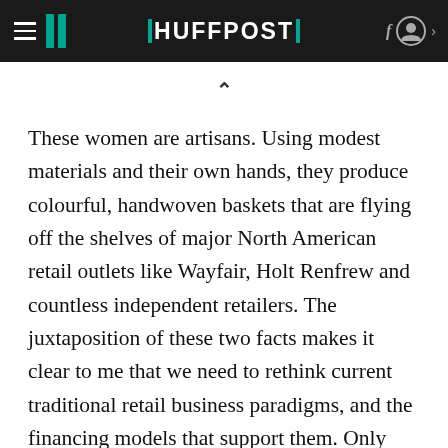HUFFPOST
These women are artisans. Using modest materials and their own hands, they produce colourful, handwoven baskets that are flying off the shelves of major North American retail outlets like Wayfair, Holt Renfrew and countless independent retailers. The juxtaposition of these two facts makes it clear to me that we need to rethink current traditional retail business paradigms, and the financing models that support them. Only then will we be able to include those who are marginalized -- by nothing